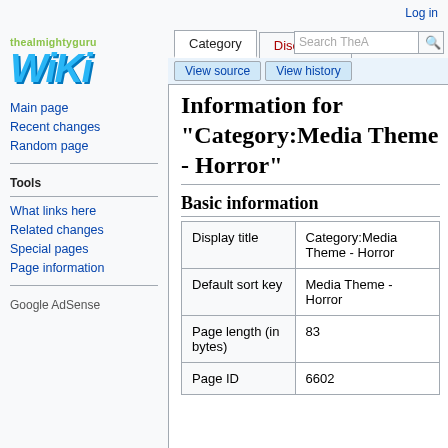Log in
[Figure (logo): thealmightyguru WIKI logo with green site name text and blue italic bold WIKI letters]
Main page
Recent changes
Random page
Tools
What links here
Related changes
Special pages
Page information
Google AdSense
Information for "Category:Media Theme - Horror"
Basic information
|  |  |
| --- | --- |
| Display title | Category:Media Theme - Horror |
| Default sort key | Media Theme - Horror |
| Page length (in bytes) | 83 |
| Page ID | 6602 |